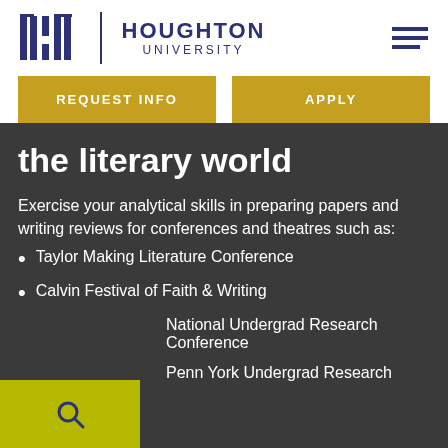Houghton University
REQUEST INFO
APPLY
the literary world
Exercise your analytical skills in preparing papers and writing reviews for conferences and theatres such as:
Taylor Making Literature Conference
Calvin Festival of Faith & Writing
National Undergrad Research Conference
Penn York Undergrad Research